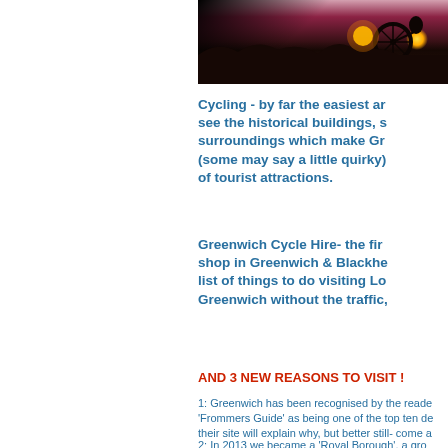[Figure (photo): Silhouette of a bicycle against a sunset sky, dark landscape with warm orange/red glow]
Cycling - by far the easiest and best way to see the historical buildings, surroundings which make Greenwich so (some may say a little quirky) unique and full of tourist attractions.
Greenwich Cycle Hire- the first cycle hire shop in Greenwich & Blackheath on the list of things to do visiting London and Greenwich without the traffic,
AND 3 NEW REASONS TO VISIT !
1: Greenwich has been recognised by the readers of 'Frommers Guide' as being one of the top ten de... their site will explain why, but better still- come a
2:  In 2013 we became a 'Royal Borough', a gro...